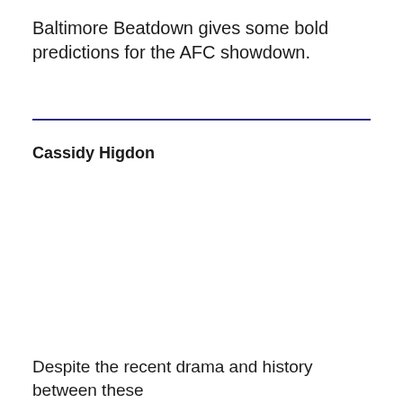Baltimore Beatdown gives some bold predictions for the AFC showdown.
Cassidy Higdon
Despite the recent drama and history between these